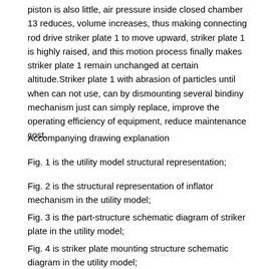piston is also little, air pressure inside closed chamber 13 reduces, volume increases, thus making connecting rod drive striker plate 1 to move upward, striker plate 1 is highly raised, and this motion process finally makes striker plate 1 remain unchanged at certain altitude.Striker plate 1 with abrasion of particles until when can not use, can by dismounting several bindiny mechanism just can simply replace, improve the operating efficiency of equipment, reduce maintenance cost.
Accompanying drawing explanation
Fig. 1 is the utility model structural representation;
Fig. 2 is the structural representation of inflator mechanism in the utility model;
Fig. 3 is the part-structure schematic diagram of striker plate in the utility model;
Fig. 4 is striker plate mounting structure schematic diagram in the utility model;
In figure: 1-striker plate; 2-pin I; 3-support I; 4-support II; The dish seat of 5-grinding roller; 6-connecting rod; 7-